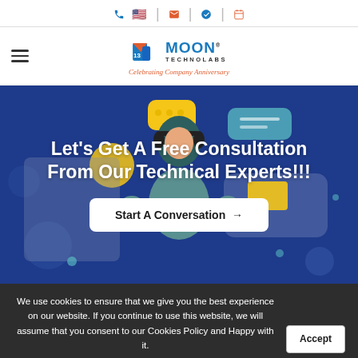Moon Technolabs — Celebrating Company Anniversary
Let's Get A Free Consultation From Our Technical Experts!!!
Start A Conversation →
We use cookies to ensure that we give you the best experience on our website. If you continue to use this website, we will assume that you consent to our Cookies Policy and Happy with it.
Accept